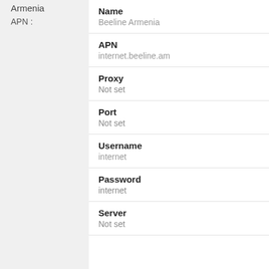Armenia
APN :
Name
Beeline Armenia
APN
internet.beeline.am
Proxy
Not set
Port
Not set
Username
internet
Password
internet
Server
Not set